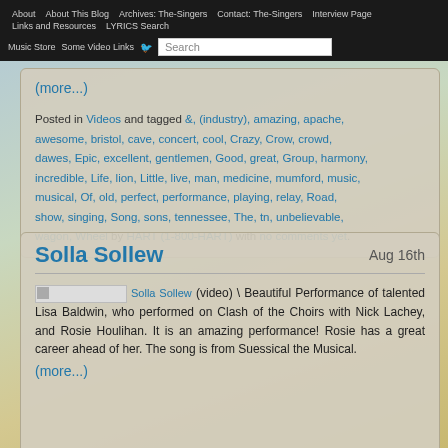About | About This Blog | Archives: The-Singers | Contact: The-Singers | Interview Page | Links and Resources | LYRICS Search | Music Store | Some Video Links | Search
(more...)
Posted in Videos and tagged &, (industry), amazing, apache, awesome, bristol, cave, concert, cool, Crazy, Crow, crowd, dawes, Epic, excellent, gentlemen, Good, great, Group, harmony, incredible, Life, lion, Little, live, man, medicine, mumford, music, musical, Of, old, perfect, performance, playing, relay, Road, show, singing, Song, sons, tennessee, The, tn, unbelievable, wagon, Wheel by HART (1-800-HART) with no comments yet.
Solla Sollew
Aug 16th
(video) \ Beautiful Performance of talented Lisa Baldwin, who performed on Clash of the Choirs with Nick Lachey, and Rosie Houlihan. It is an amazing performance! Rosie has a great career ahead of her. The song is from Suessical the Musical.
(more...)